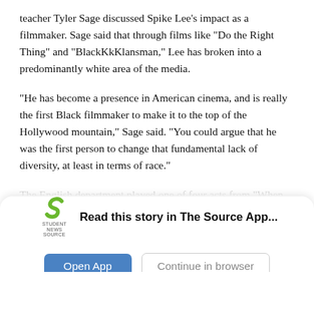teacher Tyler Sage discussed Spike Lee’s impact as a filmmaker. Sage said that through films like “Do the Right Thing” and “BlackKkKlansman,” Lee has broken into a predominantly white area of the media.
“He has become a presence in American cinema, and is really the first Black filmmaker to make it to the top of the Hollywood mountain,” Sage said. “You could argue that he was the first person to change that fundamental lack of diversity, at least in terms of race.”
The English department played one of four acts from “When the Levees Broke.” Documented by Lee in New O—
[Figure (logo): Student News Source app logo - green stylized S shape with 'STUDENT NEWS SOURCE' text below]
Read this story in The Source App...
Open App   Continue in browser